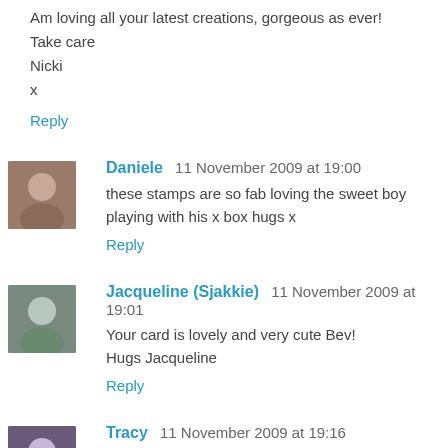Am loving all your latest creations, gorgeous as ever!
Take care
Nicki
x
Reply
Daniele 11 November 2009 at 19:00
these stamps are so fab loving the sweet boy playing with his x box hugs x
Reply
Jacqueline (Sjakkie) 11 November 2009 at 19:01
Your card is lovely and very cute Bev!
Hugs Jacqueline
Reply
Tracy 11 November 2009 at 19:16